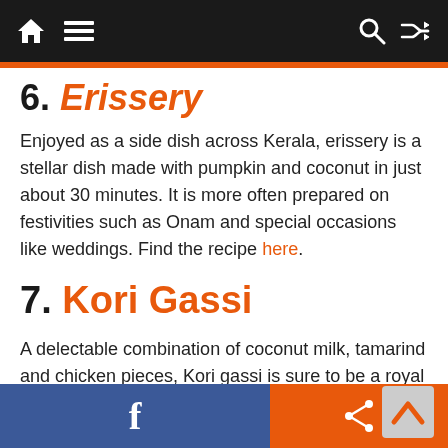Navigation bar with home, menu, search, and shuffle icons
6. Erissery
Enjoyed as a side dish across Kerala, erissery is a stellar dish made with pumpkin and coconut in just about 30 minutes. It is more often prepared on festivities such as Onam and special occasions like weddings. Find the recipe here.
7. Kori Gassi
A delectable combination of coconut milk, tamarind and chicken pieces, Kori gassi is sure to be a royal treat on the table! Find the recipe here.
8. Bendakaya Pulusu
y delicious curry of okra in
Facebook share buttons and scroll-to-top arrow